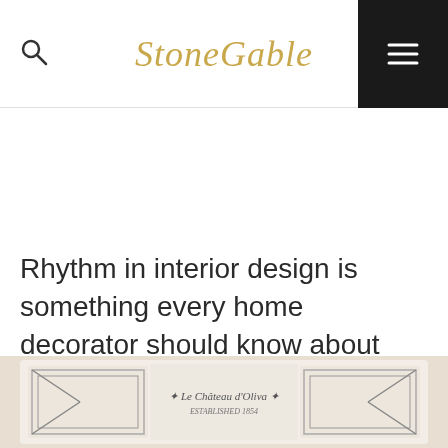StoneGable
Rhythm in interior design is something every home decorator should know about and use. It is my passion to break down these design concepts and make them easy to understand and do! Rhythm is one of the easier concepts once you know what it is. Let's see how to use rhythm in our homes!
[Figure (photo): Partial view of a decorative clock face with ornate frame and script text reading 'Le Château d'Oliva']